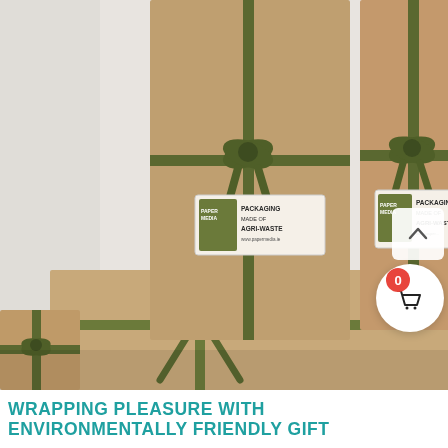[Figure (photo): Close-up photo of kraft paper wrapped gift boxes tied with dark olive green twine/ribbon bows. Labels on the boxes read 'PACKAGING MADE OF AGRI-WASTE'. Multiple boxes stacked and arranged, photographed against a light background.]
WRAPPING PLEASURE WITH ENVIRONMENTALLY FRIENDLY GIFT